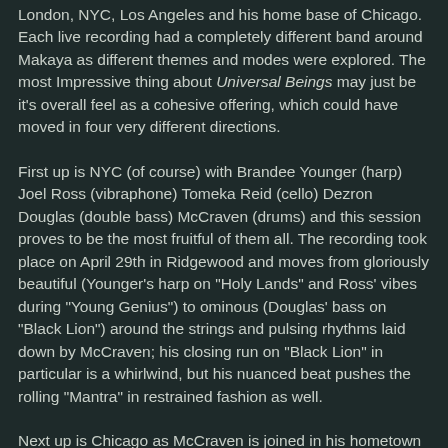London, NYC, Los Angeles and his home base of Chicago. Each live recording had a completely different band around Makaya as different themes and modes were explored. The most Impressive thing about Universal Beings may just be it's overall feel as a cohesive offering, which could have moved in four very different directions.
First up is NYC (of course) with Brandee Younger (harp) Joel Ross (vibraphone) Tomeka Reid (cello) Dezron Douglas (double bass) McCraven (drums) and this session proves to be the most fruitful of them all. The recording took place on April 29th in Ridgewood and moves from gloriously beautiful (Younger's harp on "Holy Lands" and Ross' vibes during "Young Genius") to ominous (Douglas' bass on "Black Lion") around the strings and pulsing rhythms laid down by McCraven; his closing run on "Black Lion" in particular is a whirlwind, but his nuanced beat pushes the rolling "Mantra" in restrained fashion as well.
Next up is Chicago as McCraven is joined in his hometown by Shabaka Hutchings (tenor saxophone) Tomeka Reid (cello) and Junius Paul (double bass). This set gets trance